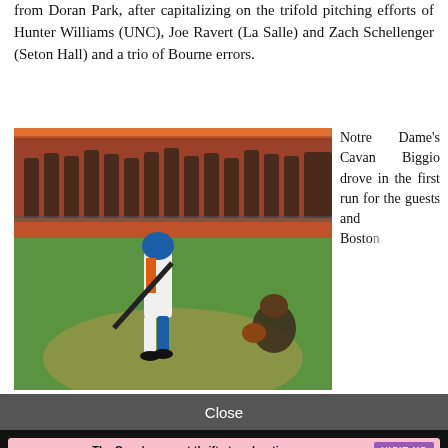from Doran Park, after capitalizing on the trifold pitching efforts of Hunter Williams (UNC), Joe Ravert (La Salle) and Zach Schellenger (Seton Hall) and a trio of Bourne errors.
[Figure (photo): Baseball player in white and blue uniform swinging a bat at home plate, with players on the dugout fence in the background.]
Notre Dame's Cavan Biggio drove in the first run for the guests and Boston
Close
[Figure (infographic): Advertisement for Flower Angels Thrift Store. Text reads: The Cape's newest thrift store boutique. Everything from garden tools to home décor! Donations welcome! Proceeds from the thrift store support the Flower Angels mission and programs of Community Connections Inc. 851 Route 28, South Yarmouth (774) 368-8771. VISIT US.]